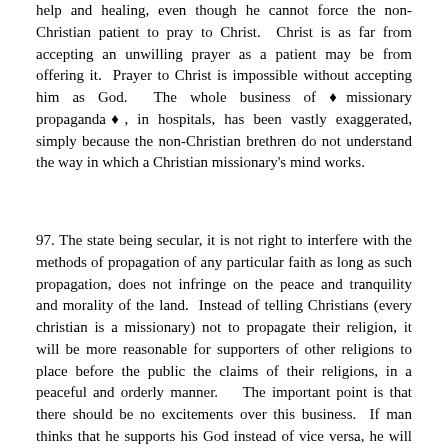help and healing, even though he cannot force the non-Christian patient to pray to Christ. Christ is as far from accepting an unwilling prayer as a patient may be from offering it. Prayer to Christ is impossible without accepting him as God. The whole business of ‘missionary propaganda’, in hospitals, has been vastly exaggerated, simply because the non-Christian brethren do not understand the way in which a Christian missionary’s mind works.
97. The state being secular, it is not right to interfere with the methods of propagation of any particular faith as long as such propagation, does not infringe on the peace and tranquility and morality of the land. Instead of telling Christians (every christian is a missionary) not to propagate their religion, it will be more reasonable for supporters of other religions to place before the public the claims of their religions, in a peaceful and orderly manner. The important point is that there should be no excitements over this business. If man thinks that he supports his God instead of vice versa, he will be only testifying to the weakness of his own religion; and Government wanting to support one particular religion, will have the same effect, namely of declaring to the world that